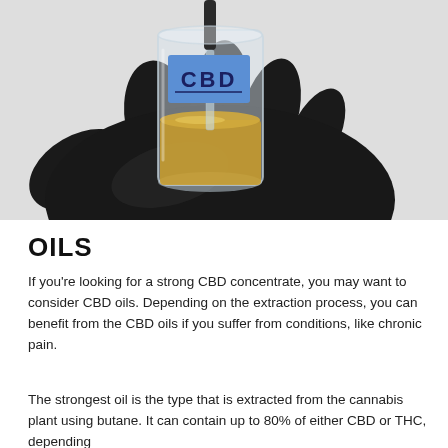[Figure (photo): A gloved black-leather hand holding a clear glass beaker containing golden-amber CBD oil, with a blue label marked 'CBD' and a dropper top. Light gray background.]
OILS
If you're looking for a strong CBD concentrate, you may want to consider CBD oils. Depending on the extraction process, you can benefit from the CBD oils if you suffer from conditions, like chronic pain.
The strongest oil is the type that is extracted from the cannabis plant using butane. It can contain up to 80% of either CBD or THC, depending